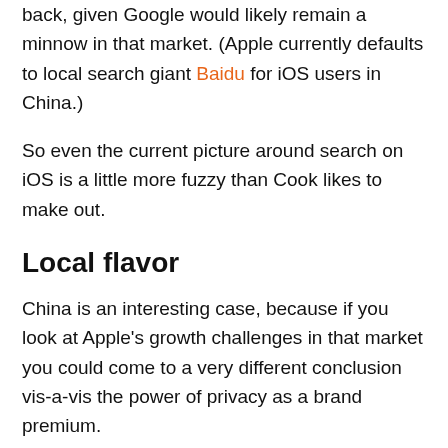back, given Google would likely remain a minnow in that market. (Apple currently defaults to local search giant Baidu for iOS users in China.)
So even the current picture around search on iOS is a little more fuzzy than Cook likes to make out.
Local flavor
China is an interesting case, because if you look at Apple’s growth challenges in that market you could come to a very different conclusion vis-a-vis the power of privacy as a brand premium.
In China it’s convenience, via the do-it-all ‘Swiss army knife’ WeChat platform, that’s apparently